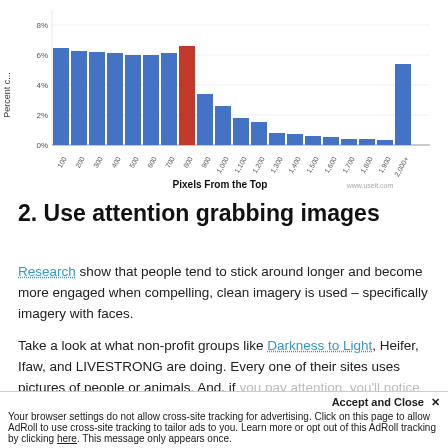[Figure (bar-chart): Pixels From the Top]
2. Use attention grabbing images
Research show that people tend to stick around longer and become more engaged when compelling, clean imagery is used – specifically imagery with faces.
Take a look at what non-profit groups like Darkness to Light, Heifer, Ifaw, and LIVESTRONG are doing. Every one of their sites uses pictures of people or animals. And, if you pay attention, you'll notice that they ar...
Your browser settings do not allow cross-site tracking for advertising. Click on this page to allow AdRoll to use cross-site tracking to tailor ads to you. Learn more or opt out of this AdRoll tracking by clicking here. This message only appears once.